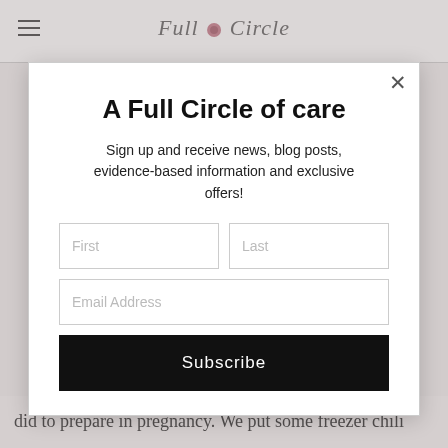Full Circle
A Full Circle of care
Sign up and receive news, blog posts, evidence-based information and exclusive offers!
Subscribe
did to prepare in pregnancy. We put some freezer chili